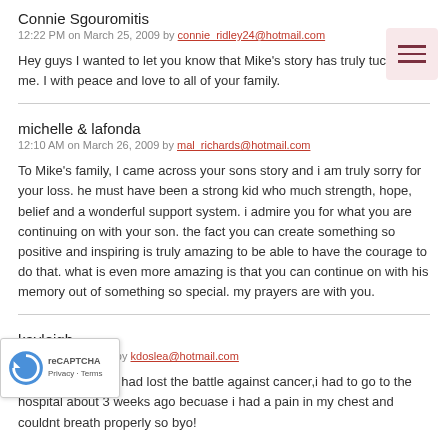Connie Sgouromitis
12:22 PM on March 25, 2009 by connie_ridley24@hotmail.com
Hey guys I wanted to let you know that Mike's story has truly tuched me. I with peace and love to all of your family.
michelle & lafonda
12:10 AM on March 26, 2009 by mal_richards@hotmail.com
To Mike's family, I came across your sons story and i am truly sorry for your loss. he must have been a strong kid who much strength, hope, belief and a wonderful support system. i admire you for what you are continuing on with your son. the fact you can create something so positive and inspiring is truly amazing to be able to have the courage to do that. what is even more amazing is that you can continue on with his memory out of something so special. my prayers are with you.
kayleigh
M on April 12, 2009 by kdoslea@hotmail.com
so sorry your son had lost the battle against cancer,i had to go to the hospital about 3 weeks ago becuase i had a pain in my chest and couldnt breath properly so byo!